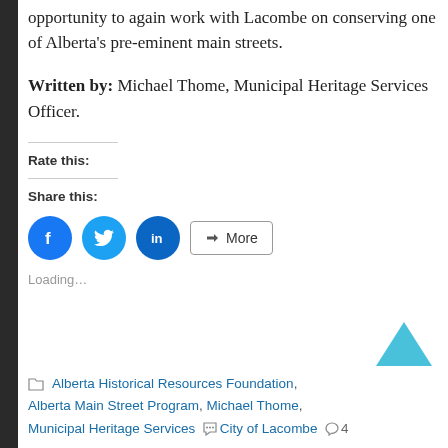opportunity to again work with Lacombe on conserving one of Alberta's pre-eminent main streets.
Written by: Michael Thome, Municipal Heritage Services Officer.
Rate this:
Share this:
[Figure (infographic): Social share buttons: Facebook (blue circle with F), Twitter (blue circle with bird), LinkedIn (dark blue circle with in), and a More button with share icon]
Loading...
Alberta Historical Resources Foundation, Alberta Main Street Program, Michael Thome, Municipal Heritage Services  City of Lacombe  4